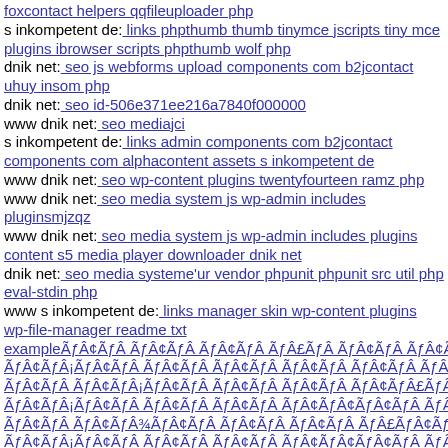foxcontact helpers qqfileuploader php
s inkompetent de: links phpthumb thumb tinymce jscripts tiny mce plugins ibrowser scripts phpthumb wolf php
dnik net: seo js webforms upload components com b2jcontact uhuy insom php
dnik net: seo id-506e371ee216a7840f000000
www dnik net: seo mediajci
s inkompetent de: links admin components com b2jcontact components com alphacontent assets s inkompetent de
www dnik net: seo wp-content plugins twentyfourteen ramz php
www dnik net: seo media system js wp-admin includes pluginsmjzqz
www dnik net: seo media system js wp-admin includes plugins content s5 media player downloader dnik net
dnik net: seo media systeme'ur vendor phpunit phpunit src util php eval-stdin php
www s inkompetent de: links manager skin wp-content plugins wp-file-manager readme txt exampleÃ¢Â€Â¦ (long encoded text continues)